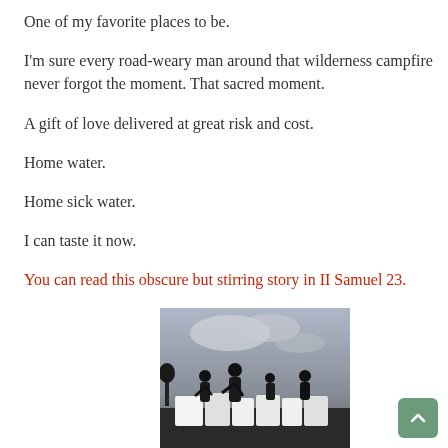One of my favorite places to be.
I'm sure every road-weary man around that wilderness campfire never forgot the moment. That sacred moment.
A gift of love delivered at great risk and cost.
Home water.
Home sick water.
I can taste it now.
You can read this obscure but stirring story in II Samuel 23.
[Figure (photo): Black and white photograph of several people standing on top of large water jerricans against a cloudy sky background]